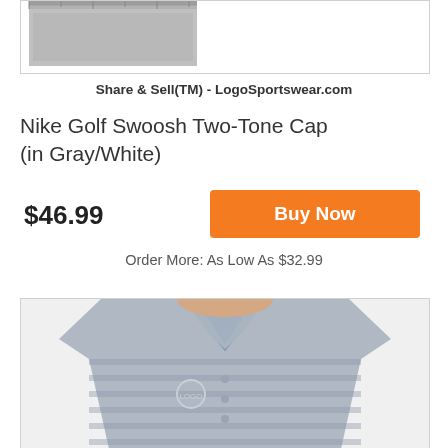[Figure (photo): Partial view of a gray/white Nike Golf Swoosh Two-Tone Cap against white background]
Share & Sell(TM) - LogoSportswear.com
Nike Golf Swoosh Two-Tone Cap (in Gray/White)
$46.99
Buy Now
Order More: As Low As $32.99
[Figure (photo): Man wearing a gray striped polo shirt with custom logo embroidery on chest]